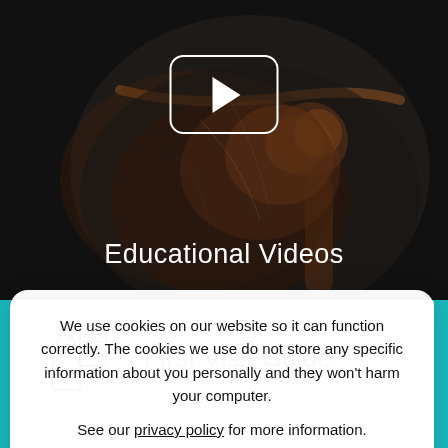[Figure (screenshot): Medical website screenshot showing Educational Videos section with a shoulder anatomy x-ray background and video play button, followed by menu items for First Visit Guide, Patient Forms, and Insurance Info, overlaid with a cookie consent banner.]
Educational Videos
First Visit Guide
Patient Forms
Insurance Info
We use cookies on our website so it can function correctly. The cookies we use do not store any specific information about you personally and they won't harm your computer.

See our privacy policy for more information.
Accept